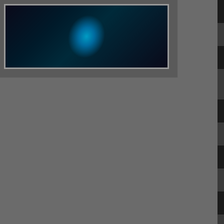[Figure (photo): Dark background image with cyan/blue glowing light effect, framed with silver/grey border]
| Date | Venue | Info |
| --- | --- | --- |
| Fri. Oct. 2 '13 | Sports Bar and Grill | Cooper a... |
| Fri. Nov. 23 '12 | Loghouse Pub | Alice Coope... |
| Sat. Oct. 27 '12 | Loghouse Pub |  |
| Sat. Sep. 22 '12 | The Cambie at the Esquimalt Inn |  |
| Fri. Jul. 13 '12 | Stationhouse Pub |  |
| Fri. Jun. 15 '12 | Loghouse Pub |  |
| Fri. Jun. 1 '12 | My Bar and Grill |  |
| Sat. Apr. 14 '12 | Stationhouse Pub | Re... |
| Fri. Apr. 6 '12 | Loghouse Pub |  |
| Fri. Feb. 24 '12 | Stationhouse Pub |  |
| Fri. Feb. 3 '12 | Loghouse Pub |  |
| Fri. Jan. 27 '12 | Stationhouse Pub |  |
| Fri. Dec. 2 '11 | Stationhouse Pub |  |